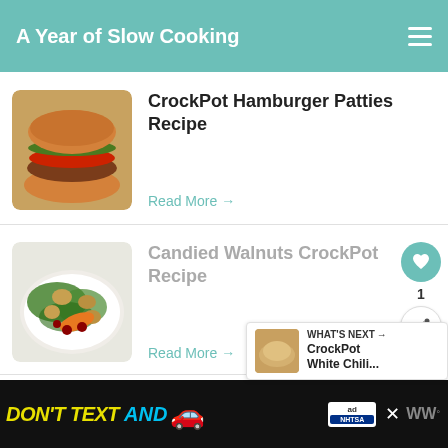A Year of Slow Cooking
CrockPot Hamburger Patties Recipe
Read More →
Candied Walnuts CrockPot Recipe
Read More →
Margarita Chicken CrockPot Recipe
WHAT'S NEXT → CrockPot White Chili...
[Figure (screenshot): Advertisement banner: DON'T TEXT AND [car emoji] with NHTSA branding]